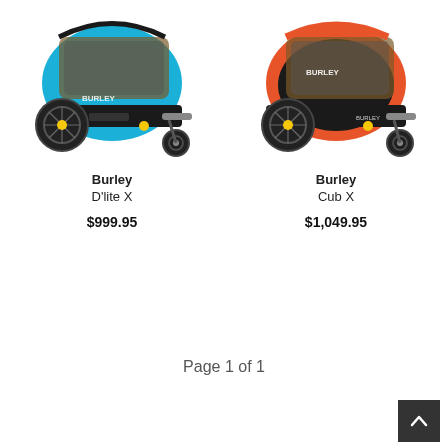[Figure (photo): Burley D'lite X child bike trailer in blue/black colorway, shown with stroller wheel attachment]
[Figure (photo): Burley Cub X child bike trailer in orange/black colorway, shown with stroller wheel attachment]
Burley
D'lite X
$999.95
Burley
Cub X
$1,049.95
Page 1 of 1